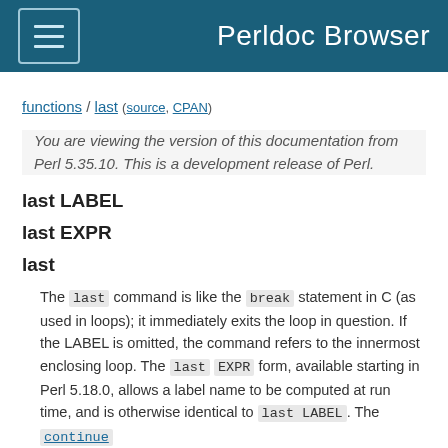Perldoc Browser
functions / last (source, CPAN)
You are viewing the version of this documentation from Perl 5.35.10. This is a development release of Perl.
last LABEL
last EXPR
last
The last command is like the break statement in C (as used in loops); it immediately exits the loop in question. If the LABEL is omitted, the command refers to the innermost enclosing loop. The last EXPR form, available starting in Perl 5.18.0, allows a label name to be computed at run time, and is otherwise identical to last LABEL. The continue